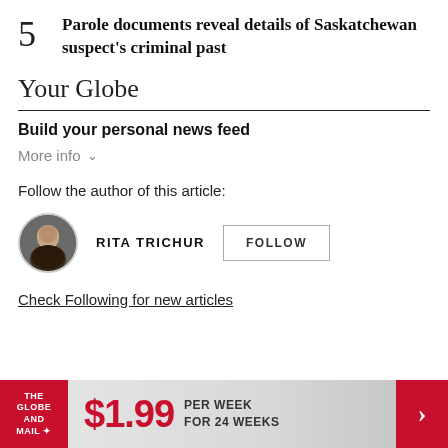5 Parole documents reveal details of Saskatchewan suspect's criminal past
Your Globe
Build your personal news feed
More info
Follow the author of this article:
RITA TRICHUR  FOLLOW
Check Following for new articles
[Figure (other): Advertisement banner: The Globe and Mail logo, $1.99 PER WEEK FOR 24 WEEKS, with red arrow button]